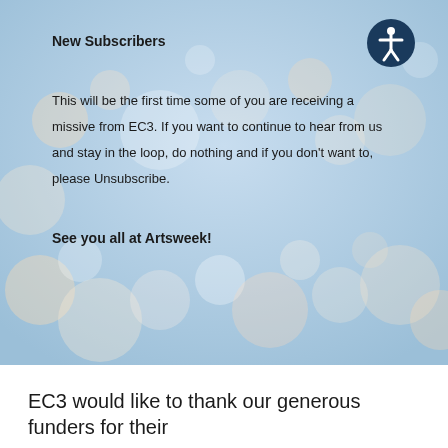New Subscribers
[Figure (illustration): Accessibility icon — white human figure silhouette on dark navy blue circular background]
This will be the first time some of you are receiving a missive from EC3.  If you want to continue to hear from us and stay in the loop, do nothing and if you don't want to, please Unsubscribe.
See you all at Artsweek!
[Figure (photo): Blurred bokeh background with soft light circles in blue, peach, and white tones]
EC3 would like to thank our generous funders for their